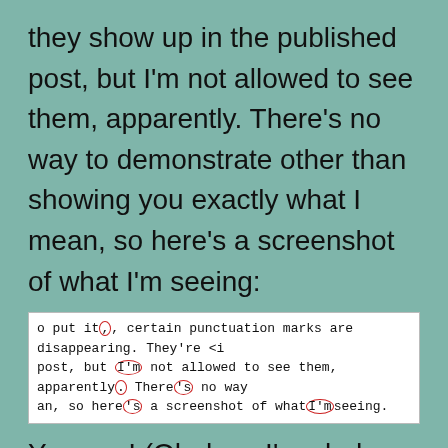they show up in the published post, but I'm not allowed to see them, apparently. There's no way to demonstrate other than showing you exactly what I mean, so here's a screenshot of what I'm seeing:
[Figure (screenshot): A screenshot showing monospace text with red circles around missing apostrophes and punctuation characters]
You see! (Oh, how I'm glad you can't see what that exclamation point was just reduced to on my screen…) True, the parens are mostly there, there are commas galore, and you can kind of make out the periods, but what of the apostrophes?! Where have they gone? WHERE ARE MY APOSTROPHES?! Man,